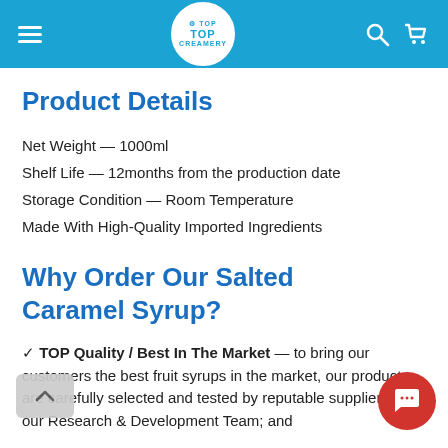TOP CREAMERY
Product Details
Net Weight — 1000ml
Shelf Life — 12months from the production date
Storage Condition — Room Temperature
Made With High-Quality Imported Ingredients
Why Order Our Salted Caramel Syrup?
✓ TOP Quality / Best In The Market — to bring our customers the best fruit syrups in the market, our products are carefully selected and tested by reputable suppliers by our Research & Development Team; and